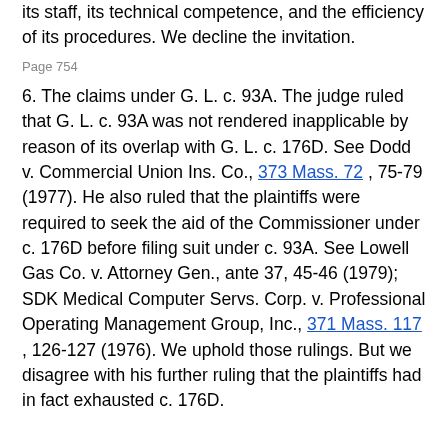its staff, its technical competence, and the efficiency of its procedures. We decline the invitation.
Page 754
6. The claims under G. L. c. 93A. The judge ruled that G. L. c. 93A was not rendered inapplicable by reason of its overlap with G. L. c. 176D. See Dodd v. Commercial Union Ins. Co., 373 Mass. 72 , 75-79 (1977). He also ruled that the plaintiffs were required to seek the aid of the Commissioner under c. 176D before filing suit under c. 93A. See Lowell Gas Co. v. Attorney Gen., ante 37, 45-46 (1979); SDK Medical Computer Servs. Corp. v. Professional Operating Management Group, Inc., 371 Mass. 117 , 126-127 (1976). We uphold those rulings. But we disagree with his further ruling that the plaintiffs had in fact exhausted c. 176D.